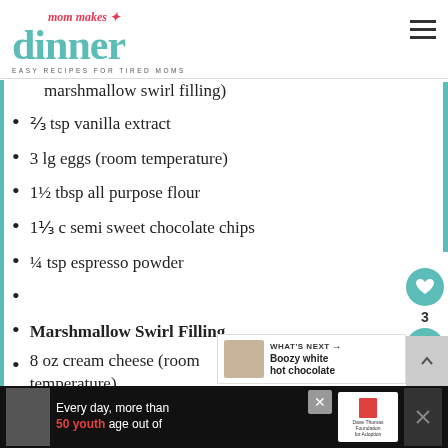[Figure (logo): Mom Makes Dinner logo with teal 'dinner' text and red 'mom makes' script, tagline 'EASY RECIPES FOR TIRED MOMS']
marshmallow swirl filling)
⅔ tsp vanilla extract
3 lg eggs (room temperature)
1½ tbsp all purpose flour
1⅓ c semi sweet chocolate chips
¼ tsp espresso powder
Marshmallow Swirl Filling
8 oz cream cheese (room temperature)
⅓ c granulated sugar
Every day, more than 50 youth age out of [Dave Thomas Foundation for Adoption ad]